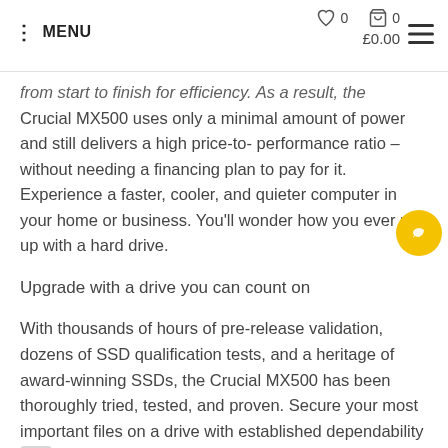MENU | ♡ 0 | 🛒 0 | £0.00
from start to finish for efficiency. As a result, the Crucial MX500 uses only a minimal amount of power and still delivers a high price-to-performance ratio – without needing a financing plan to pay for it. Experience a faster, cooler, and quieter computer in your home or business. You'll wonder how you ever put up with a hard drive.
Upgrade with a drive you can count on
With thousands of hours of pre-release validation, dozens of SSD qualification tests, and a heritage of award-winning SSDs, the Crucial MX500 has been thoroughly tried, tested, and proven. Secure your most important files on a drive with established dependability and the